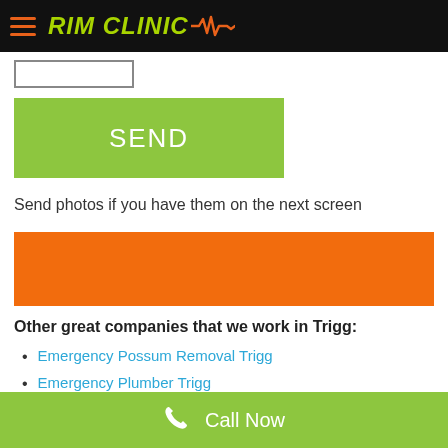RIM CLINIC
[Figure (screenshot): Input text box (partially visible)]
[Figure (screenshot): Green SEND button]
Send photos if you have them on the next screen
[Figure (other): Orange banner/advertisement block]
Other great companies that we work in Trigg:
Emergency Possum Removal Trigg
Emergency Plumber Trigg
Bumper Scratch Repair Trigg
Emergency Plumber Trigg
Call Now